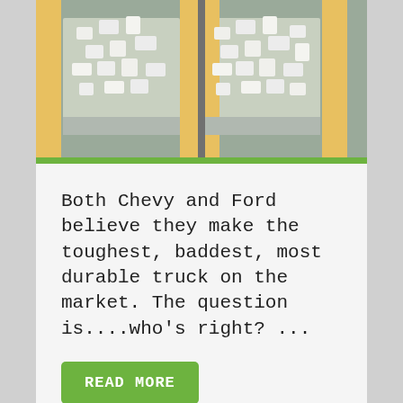[Figure (photo): Two pickup truck beds (one Chevy, one Ford) filled with white foam/debris blocks, photographed side by side from the rear.]
Both Chevy and Ford believe they make the toughest, baddest, most durable truck on the market. The question is....who's right? ...
READ MORE
FILED UNDER: AUTO NEWS, VEHICLE REVIEW
TAGGED WITH: CHEVY, FORD, TRUCK
1  2  Next Page »